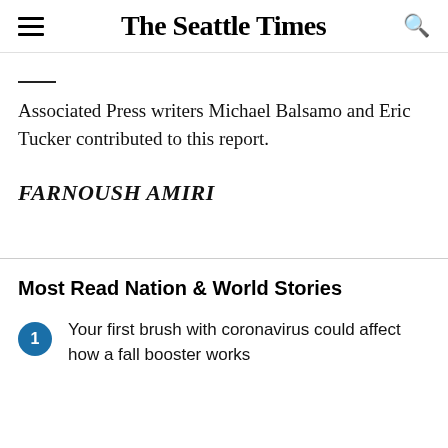The Seattle Times
Associated Press writers Michael Balsamo and Eric Tucker contributed to this report.
FARNOUSH AMIRI
Most Read Nation & World Stories
Your first brush with coronavirus could affect how a fall booster works